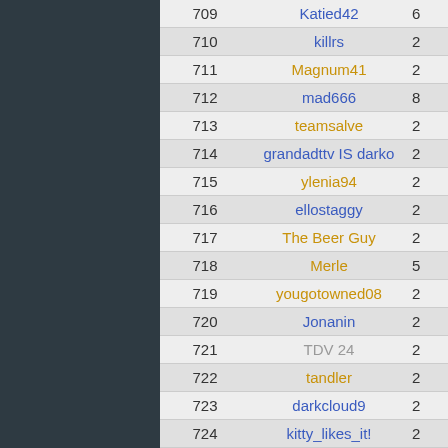| Rank | Username | Score |
| --- | --- | --- |
| 709 | Katied42 | 6 |
| 710 | killrs | 2 |
| 711 | Magnum41 | 2 |
| 712 | mad666 | 8 |
| 713 | teamsalve | 2 |
| 714 | grandadttv IS darko | 2 |
| 715 | ylenia94 | 2 |
| 716 | ellostaggy | 2 |
| 717 | The Beer Guy | 2 |
| 718 | Merle | 5 |
| 719 | yougotowned08 | 2 |
| 720 | Jonanin | 2 |
| 721 | TDV 24 | 2 |
| 722 | tandler | 2 |
| 723 | darkcloud9 | 2 |
| 724 | kitty_likes_it! | 2 |
| 725 | blondie101010 | 2 |
| 726 | vladi3939 | 2 |